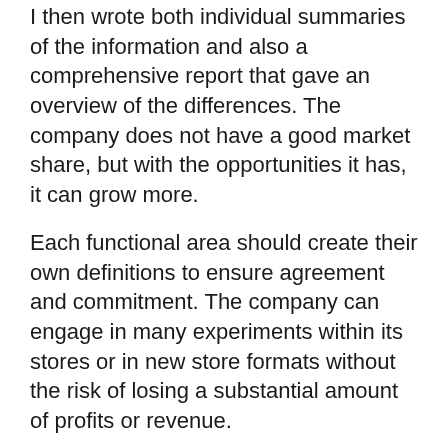I then wrote both individual summaries of the information and also a comprehensive report that gave an overview of the differences. The company does not have a good market share, but with the opportunities it has, it can grow more.
Each functional area should create their own definitions to ensure agreement and commitment. The company can engage in many experiments within its stores or in new store formats without the risk of losing a substantial amount of profits or revenue.
With this information, organizations can finalize their strategy by defining the vision, creating a mission statement, and identifying their competitive advantages.
The report is beneficial to comprehend the weaknesses that will aid to overcome critical issues affecting the business. Ince was born in and was famous as the owner of his own progressive movie studio.
If you want to learn how to set up their own fact...